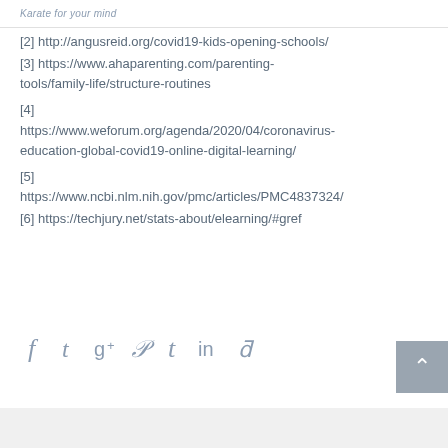Karate for your mind
[2] http://angusreid.org/covid19-kids-opening-schools/
[3] https://www.ahaparenting.com/parenting-tools/family-life/structure-routines
[4] https://www.weforum.org/agenda/2020/04/coronavirus-education-global-covid19-online-digital-learning/
[5] https://www.ncbi.nlm.nih.gov/pmc/articles/PMC4837324/
[6] https://techjury.net/stats-about/elearning/#gref
[Figure (infographic): Social media sharing icons: Facebook, Twitter, Google+, Pinterest, Tumblr, LinkedIn, Reddit]